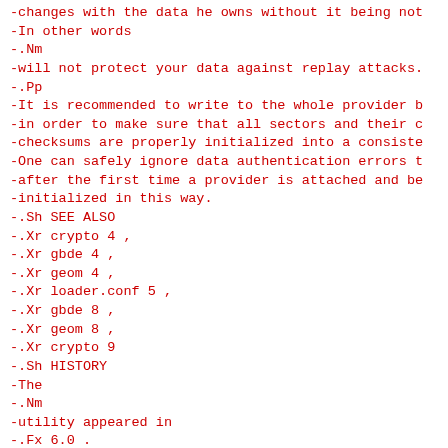-changes with the data he owns without it being not
-In other words
-.Nm
-will not protect your data against replay attacks.
-.Pp
-It is recommended to write to the whole provider b
-in order to make sure that all sectors and their c
-checksums are properly initialized into a consiste
-One can safely ignore data authentication errors t
-after the first time a provider is attached and be
-initialized in this way.
-.Sh SEE ALSO
-.Xr crypto 4 ,
-.Xr gbde 4 ,
-.Xr geom 4 ,
-.Xr loader.conf 5 ,
-.Xr gbde 8 ,
-.Xr geom 8 ,
-.Xr crypto 9
-.Sh HISTORY
-The
-.Nm
-utility appeared in
-.Fx 6.0 .
-Support for the
-.Nm Camellia
-block cipher is implemented by Yoshisato Yanagisa
-.Fx 7.0 .
-.Pp
-Highest